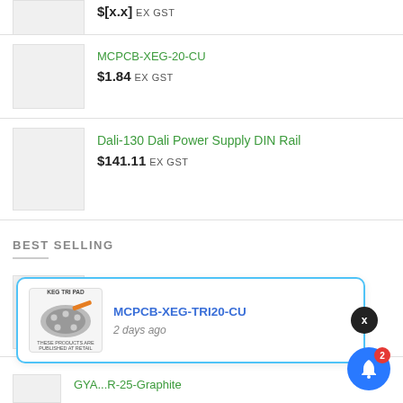[Figure (photo): Product thumbnail placeholder (gray box, partially visible at top)]
$[x.x] EX GST (partially visible price at top)
MCPCB-XEG-20-CU — $1.84 EX GST
Dali-130 Dali Power Supply DIN Rail — $141.11 EX GST
BEST SELLING
JB3030AWT-P-H50EA0000-N0000001 — $0.09 EX GST
Notification popup: MCPCB-XEG-TRI20-CU, 2 days ago
GYA...R-25-Graphite (partially visible at bottom)